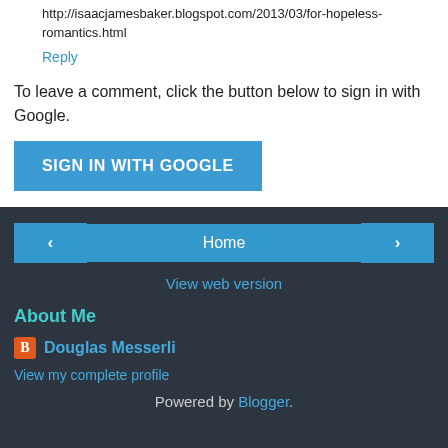http://isaacjamesbaker.blogspot.com/2013/03/for-hopeless-romantics.html
Reply
To leave a comment, click the button below to sign in with Google.
SIGN IN WITH GOOGLE
Home
View web version
About Me
Douglas Messerli
View my complete profile
Powered by Blogger.